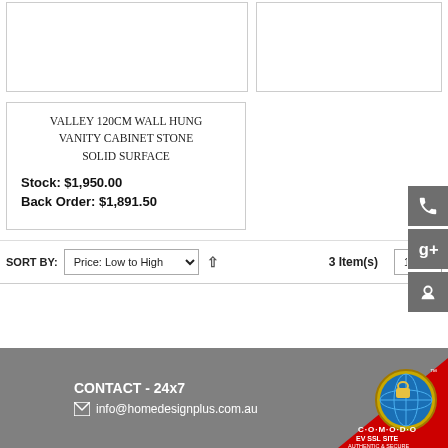[Figure (screenshot): Two product card placeholders at top, partially visible]
VALLEY 120CM WALL HUNG VANITY CABINET STONE SOLID SURFACE
Stock: $1,950.00
Back Order: $1,891.50
SORT BY: Price: Low to High  3 Item(s)  18
CONTACT - 24x7
info@homedesignplus.com.au
[Figure (logo): Comodo EV SSL Site Authentic & Secure badge]